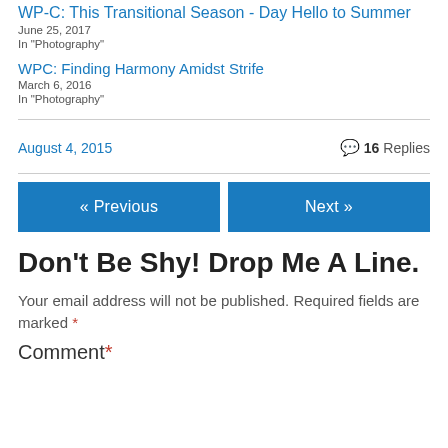WP-C: This Transitional Season - Say Hello to Summer
June 25, 2017
In "Photography"
WPC: Finding Harmony Amidst Strife
March 6, 2016
In "Photography"
August 4, 2015
16 Replies
« Previous
Next »
Don't Be Shy! Drop Me A Line.
Your email address will not be published. Required fields are marked *
Comment *